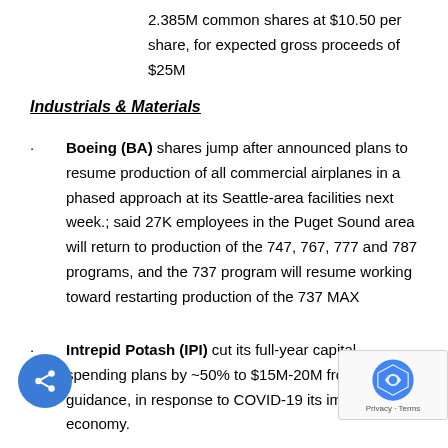2.385M common shares at $10.50 per share, for expected gross proceeds of $25M
Industrials & Materials
Boeing (BA) shares jump after announced plans to resume production of all commercial airplanes in a phased approach at its Seattle-area facilities next week.; said 27K employees in the Puget Sound area will return to production of the 747, 767, 777 and 787 programs, and the 737 program will resume working toward restarting production of the 737 MAX
Intrepid Potash (IPI) cut its full-year capital spending plans by ~50% to $15M-20M from previous guidance, in response to COVID-19 its impact on the economy.